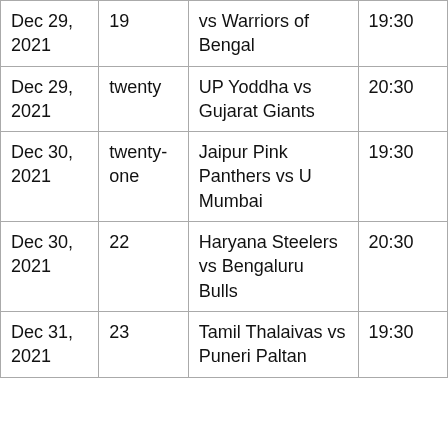| Date | Match No. | Match | Time |
| --- | --- | --- | --- |
| Dec 29, 2021 | 19 | vs Warriors of Bengal | 19:30 |
| Dec 29, 2021 | twenty | UP Yoddha vs Gujarat Giants | 20:30 |
| Dec 30, 2021 | twenty-one | Jaipur Pink Panthers vs U Mumbai | 19:30 |
| Dec 30, 2021 | 22 | Haryana Steelers vs Bengaluru Bulls | 20:30 |
| Dec 31, 2021 | 23 | Tamil Thalaivas vs Puneri Paltan | 19:30 |